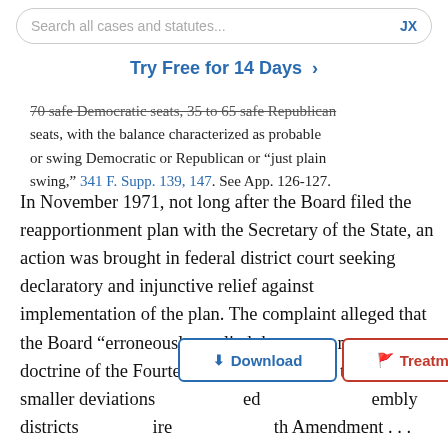Search all cases and statutes...  JX
Try Free for 14 Days >
70 safe Democratic seats, 35 to 65 safe Republican seats, with the balance characterized as probable or swing Democratic or Republican or “just plain swing,” 341 F. Supp. 139, 147. See App. 126-127.
In November 1971, not long after the Board filed the reapportionment plan with the Secretary of the State, an action was brought in federal district court seeking declaratory and injunctive relief against implementation of the plan. The complaint alleged that the Board “erroneously applied the one man-one vote doctrine of the Fourteenth Amendment . . . to achieve smaller deviations [ed] embly districts [ire] th Amendment . . . and thereby was compelled to segment